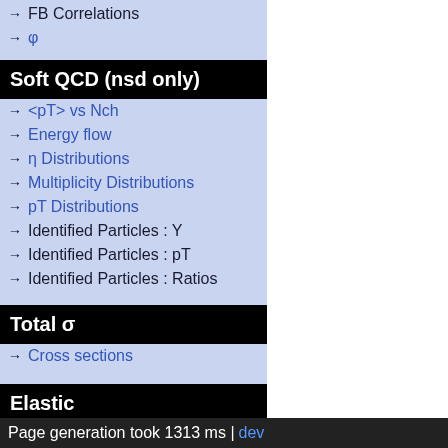→ FB Correlations
→ φ
Soft QCD (nsd only)
→ <pT> vs Nch
→ Energy flow
→ η Distributions
→ Multiplicity Distributions
→ pT Distributions
→ Identified Particles : Y
→ Identified Particles : pT
→ Identified Particles : Ratios
Total σ
→ Cross sections
Elastic
→ Cross sections
Page generation took 1313 ms | dev